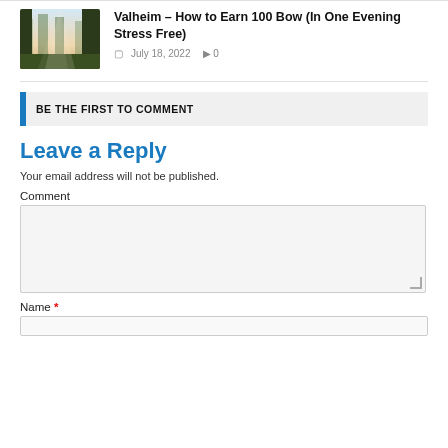[Figure (photo): Thumbnail image of a forest scene with tall trees and misty light, article thumbnail for Valheim gaming article]
Valheim – How to Earn 100 Bow (In One Evening Stress Free)
July 18, 2022   0
BE THE FIRST TO COMMENT
Leave a Reply
Your email address will not be published.
Comment
Name *